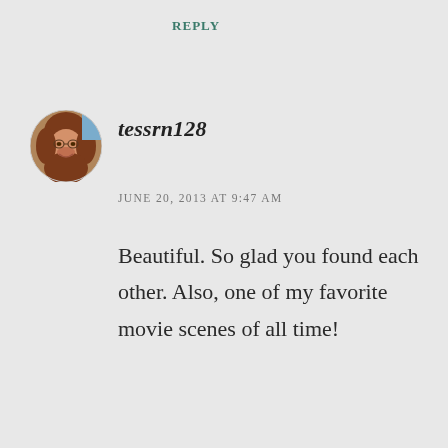REPLY
[Figure (photo): Circular avatar photo of a woman with reddish-brown hair, smiling]
tessrn128
JUNE 20, 2013 AT 9:47 AM
Beautiful. So glad you found each other. Also, one of my favorite movie scenes of all time!